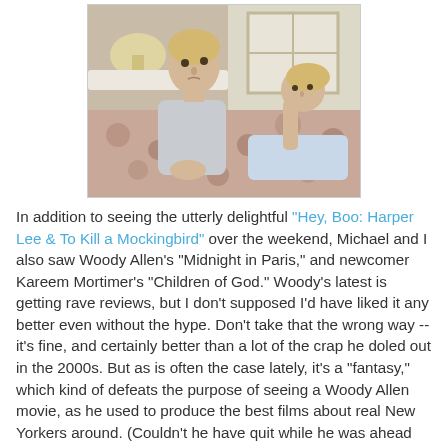[Figure (photo): A man with blond hair sitting on a bed with a woman lying on the bed behind him, in a bedroom setting.]
In addition to seeing the utterly delightful "Hey, Boo: Harper Lee & To Kill a Mockingbird" over the weekend, Michael and I also saw Woody Allen's "Midnight in Paris," and newcomer Kareem Mortimer's "Children of God." Woody's latest is getting rave reviews, but I don't supposed I'd have liked it any better even without the hype. Don't take that the wrong way -- it's fine, and certainly better than a lot of the crap he doled out in the 2000s. But as is often the case lately, it's a "fantasy," which kind of defeats the purpose of seeing a Woody Allen movie, as he used to produce the best films about real New Yorkers around. (Couldn't he have quit while he was ahead with "The Purple Rose of Cairo"?) The good news is, Owen Wilson is charmingly restrained in his role as